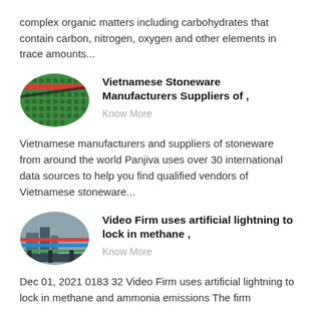complex organic matters including carbohydrates that contain carbon, nitrogen, oxygen and other elements in trace amounts...
[Figure (photo): Oval-shaped photo of green perforated industrial material with red stripe]
Vietnamese Stoneware Manufacturers Suppliers of ,
Know More
Vietnamese manufacturers and suppliers of stoneware from around the world Panjiva uses over 30 international data sources to help you find qualified vendors of Vietnamese stoneware...
[Figure (photo): Oval-shaped photo of industrial machinery in a factory setting]
Video Firm uses artificial lightning to lock in methane ,
Know More
Dec 01, 2021 0183 32 Video Firm uses artificial lightning to lock in methane and ammonia emissions The firm